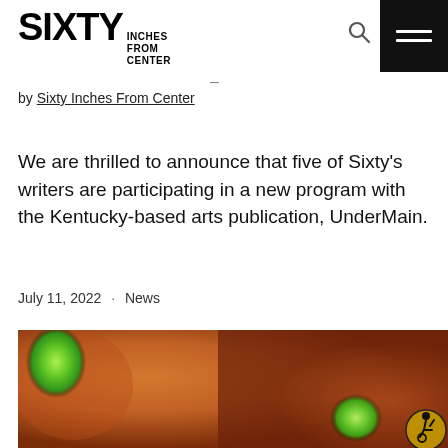SIXTY INCHES FROM CENTER
by Sixty Inches From Center
We are thrilled to announce that five of Sixty’s writers are participating in a new program with the Kentucky-based arts publication, UnderMain.
July 11, 2022 · News
[Figure (photo): Abstract close-up photo of a face with green luminescent blobs against an orange-brown warm background]